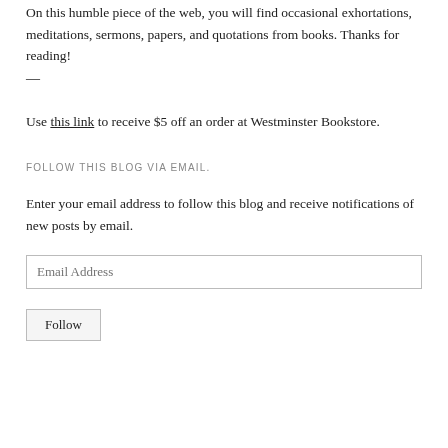On this humble piece of the web, you will find occasional exhortations, meditations, sermons, papers, and quotations from books. Thanks for reading!
—
Use this link to receive $5 off an order at Westminster Bookstore.
FOLLOW THIS BLOG VIA EMAIL.
Enter your email address to follow this blog and receive notifications of new posts by email.
Email Address
Follow